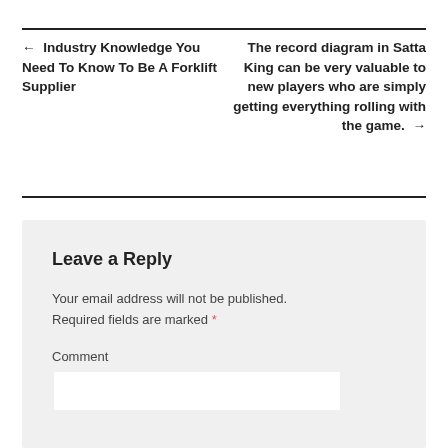← Industry Knowledge You Need To Know To Be A Forklift Supplier
The record diagram in Satta King can be very valuable to new players who are simply getting everything rolling with the game. →
Leave a Reply
Your email address will not be published. Required fields are marked *
Comment